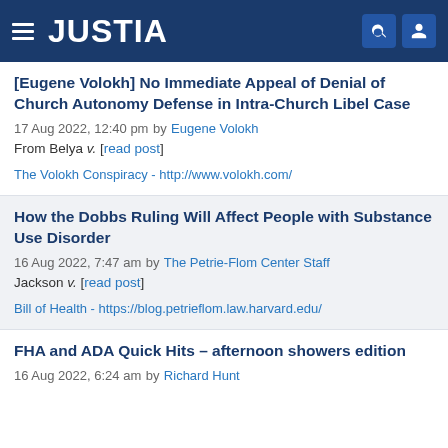JUSTIA
[Eugene Volokh] No Immediate Appeal of Denial of Church Autonomy Defense in Intra-Church Libel Case
17 Aug 2022, 12:40 pm by Eugene Volokh
From Belya v. [read post]
The Volokh Conspiracy - http://www.volokh.com/
How the Dobbs Ruling Will Affect People with Substance Use Disorder
16 Aug 2022, 7:47 am by The Petrie-Flom Center Staff
Jackson v. [read post]
Bill of Health - https://blog.petrieflom.law.harvard.edu/
FHA and ADA Quick Hits – afternoon showers edition
16 Aug 2022, 6:24 am by Richard Hunt